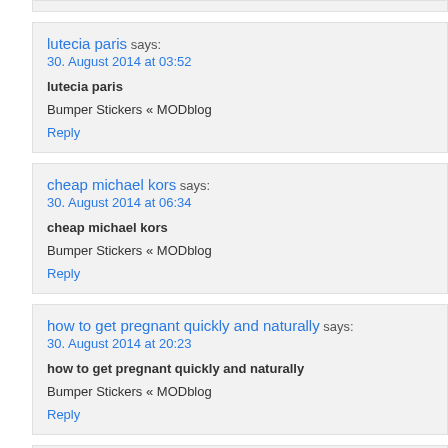lutecia paris says:
30. August 2014 at 03:52
lutecia paris
Bumper Stickers « MODblog
Reply
cheap michael kors says:
30. August 2014 at 06:34
cheap michael kors
Bumper Stickers « MODblog
Reply
how to get pregnant quickly and naturally says:
30. August 2014 at 20:23
how to get pregnant quickly and naturally
Bumper Stickers « MODblog
Reply
http://www.gottsackercommercial.com/about/s